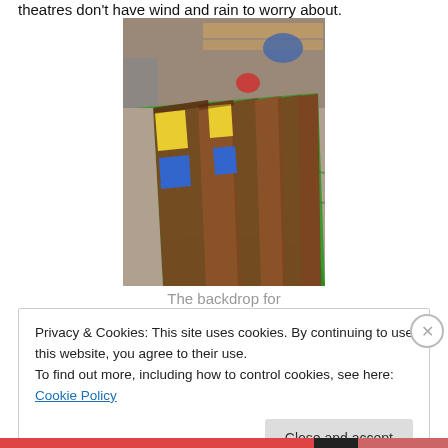theatres don't have wind and rain to worry about.
[Figure (photo): A colorful hand-painted theatrical backdrop laid flat on a table, showing green landscape with brown wooden-plank-style strips and yellow and blue rectangular patches, viewed from an angle in a workshop setting.]
The backdrop for
Privacy & Cookies: This site uses cookies. By continuing to use this website, you agree to their use.
To find out more, including how to control cookies, see here: Cookie Policy
Close and accept